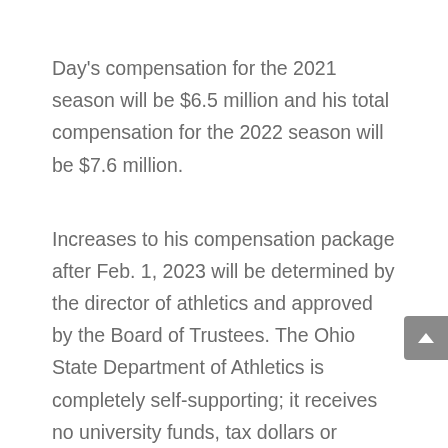Day's compensation for the 2021 season will be $6.5 million and his total compensation for the 2022 season will be $7.6 million.
Increases to his compensation package after Feb. 1, 2023 will be determined by the director of athletics and approved by the Board of Trustees. The Ohio State Department of Athletics is completely self-supporting; it receives no university funds, tax dollars or student fees.
Day guided the Buckeyes to a 13-1 season in 2019, his initial season as a head coach. His team was dominant: